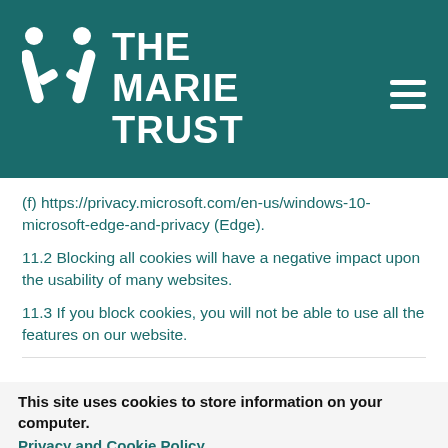[Figure (logo): The Marie Trust logo — stylized M with two figures and text THE MARIE TRUST in white on teal background, with hamburger menu icon]
(f) https://privacy.microsoft.com/en-us/windows-10-microsoft-edge-and-privacy (Edge).
11.2 Blocking all cookies will have a negative impact upon the usability of many websites.
11.3 If you block cookies, you will not be able to use all the features on our website.
This site uses cookies to store information on your computer.
Privacy and Cookie Policy
I'm fine with this